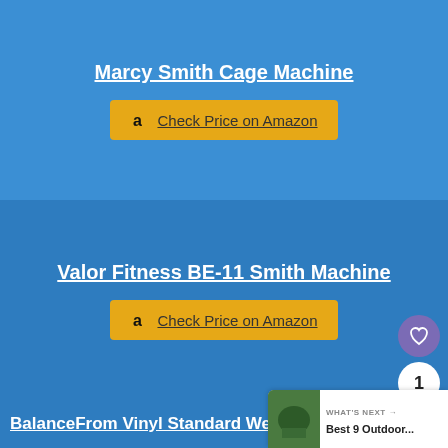Marcy Smith Cage Machine
Check Price on Amazon
Valor Fitness BE-11 Smith Machine
Check Price on Amazon
BalanceFrom Vinyl Standard Weight Set
WHAT'S NEXT → Best 9 Outdoor...